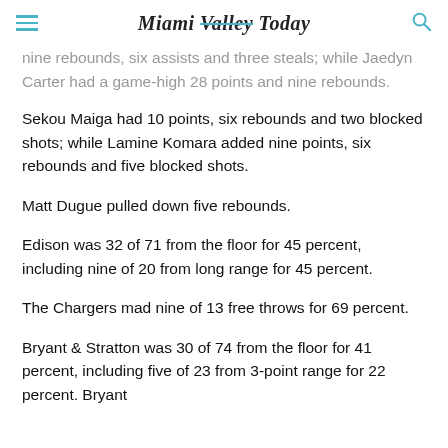Miami Valley Today
nine rebounds, six assists and three steals; while Jaedyn Carter had a game-high 28 points and nine rebounds.
Sekou Maiga had 10 points, six rebounds and two blocked shots; while Lamine Komara added nine points, six rebounds and five blocked shots.
Matt Dugue pulled down five rebounds.
Edison was 32 of 71 from the floor for 45 percent, including nine of 20 from long range for 45 percent.
The Chargers mad nine of 13 free throws for 69 percent.
Bryant & Stratton was 30 of 74 from the floor for 41 percent, including five of 23 from 3-point range for 22 percent. Bryant